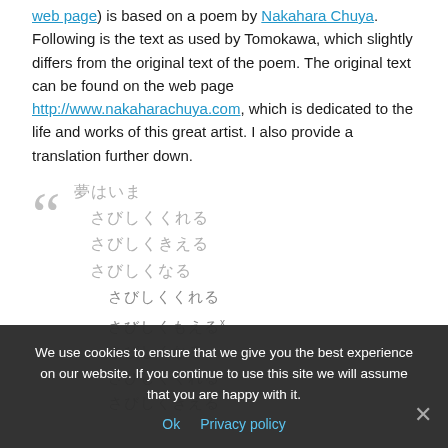web page) is based on a poem by Nakahara Chuya. Following is the text as used by Tomokawa, which slightly differs from the original text of the poem. The original text can be found on the web page http://www.nakaharachuya.com, which is dedicated to the life and works of this great artist. I also provide a translation further down.
Japanese poem lines (quoted block with blockquote marks)
We use cookies to ensure that we give you the best experience on our website. If you continue to use this site we will assume that you are happy with it. Ok Privacy policy